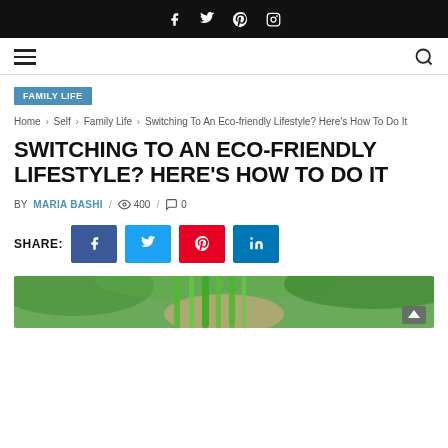Social icons: Facebook, Twitter, Pinterest, Instagram
Navigation bar with hamburger menu and search icon
FAMILY LIFE
Home › Self › Family Life › Switching To An Eco-friendly Lifestyle? Here's How To Do It
SWITCHING TO AN ECO-FRIENDLY LIFESTYLE? HERE'S HOW TO DO IT
BY MARIA BASHI / 400 / 0
SHARE: [Facebook] [Twitter] [Pinterest] [LinkedIn]
[Figure (photo): Photo of a person holding green vegetables or plants, bottom of page]